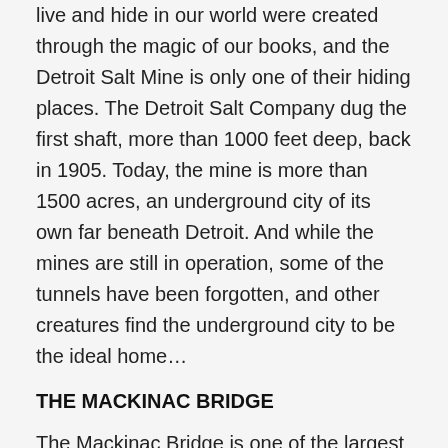live and hide in our world were created through the magic of our books, and the Detroit Salt Mine is only one of their hiding places. The Detroit Salt Company dug the first shaft, more than 1000 feet deep, back in 1905. Today, the mine is more than 1500 acres, an underground city of its own far beneath Detroit. And while the mines are still in operation, some of the tunnels have been forgotten, and other creatures find the underground city to be the ideal home…
THE MACKINAC BRIDGE
The Mackinac Bridge is one of the largest suspension bridges in the world, connecting Michigan's Upper and Lower Peninsulas. In 1989, Leslie Ann Pluhar stopped her Yugo in one of the center lanes, which are made of metal grating. A gust of wind blew her vehicle off of the bridge. Given that loss is a) afraid of heights and b) drives a